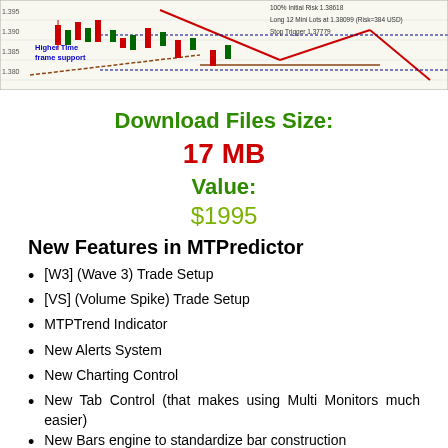[Figure (screenshot): Trading chart screenshot showing candlestick price action with annotations: 'Higher Time frame support', '100% Initial Risk 1.38618', 'Long 12 Mini Lots at 1.38099 (Risk=384 USD)', 'Stop Trigger 1.37779']
Download Files Size:
17 MB
Value:
$1995
New Features in MTPredictor
[W3] (Wave 3) Trade Setup
[VS] (Volume Spike) Trade Setup
MTPTrend Indicator
New Alerts System
New Charting Control
New Tab Control (that makes using Multi Monitors much easier)
New Bars engine to standardize bar construction